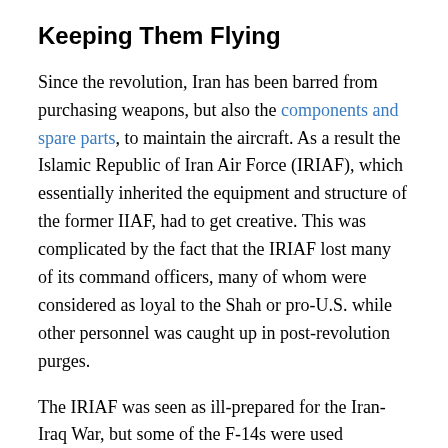Keeping Them Flying
Since the revolution, Iran has been barred from purchasing weapons, but also the components and spare parts, to maintain the aircraft. As a result the Islamic Republic of Iran Air Force (IRIAF), which essentially inherited the equipment and structure of the former IIAF, had to get creative. This was complicated by the fact that the IRIAF lost many of its command officers, many of whom were considered as loyal to the Shah or pro-U.S. while other personnel was caught up in post-revolution purges.
The IRIAF was seen as ill-prepared for the Iran-Iraq War, but some of the F-14s were used...